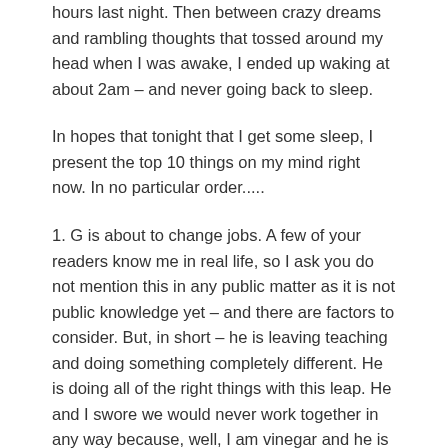hours last night. Then between crazy dreams and rambling thoughts that tossed around my head when I was awake, I ended up waking at about 2am – and never going back to sleep.
In hopes that tonight that I get some sleep, I present the top 10 things on my mind right now. In no particular order.....
1. G is about to change jobs. A few of your readers know me in real life, so I ask you do not mention this in any public matter as it is not public knowledge yet – and there are factors to consider. But, in short – he is leaving teaching and doing something completely different. He is doing all of the right things with this leap. He and I swore we would never work together in any way because, well, I am vinegar and he is oil – and